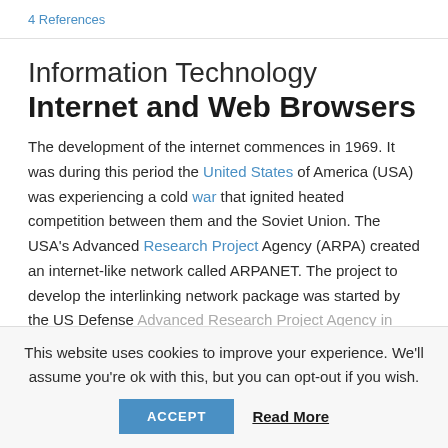4 References
Information Technology
Internet and Web Browsers
The development of the internet commences in 1969. It was during this period the United States of America (USA) was experiencing a cold war that ignited heated competition between them and the Soviet Union. The USA's Advanced Research Project Agency (ARPA) created an internet-like network called ARPANET. The project to develop the interlinking network package was started by the US Defense Advanced Research Project Agency in 1973 to create a
This website uses cookies to improve your experience. We'll assume you're ok with this, but you can opt-out if you wish.